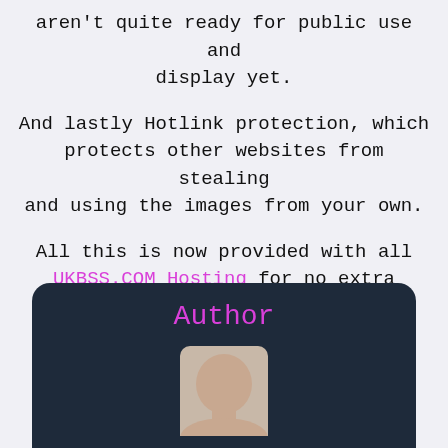aren't quite ready for public use and display yet.
And lastly Hotlink protection, which protects other websites from stealing and using the images from your own.
All this is now provided with all UKBSS.COM Hosting for no extra charge.
Author
[Figure (photo): Author avatar photo showing a person, partially visible at the bottom of a dark navy rounded card]